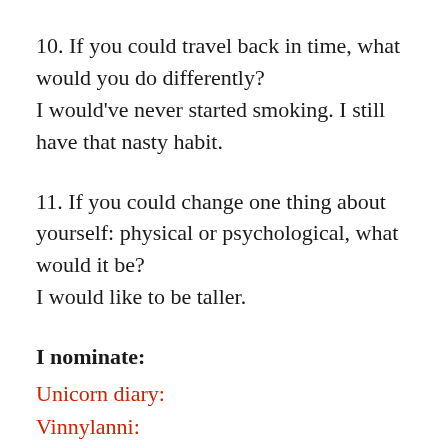10. If you could travel back in time, what would you do differently?
I would've never started smoking. I still have that nasty habit.
11. If you could change one thing about yourself: physical or psychological, what would it be?
I would like to be taller.
I nominate:
Unicorn diary:
Vinnylanni:
Srijan: